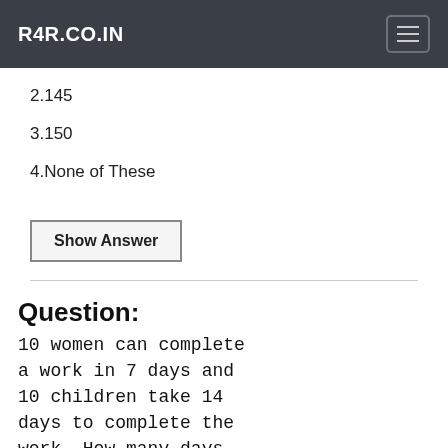R4R.CO.IN
2.145
3.150
4.None of These
Show Answer
Question:
10 women can complete a work in 7 days and 10 children take 14 days to complete the work. How many days